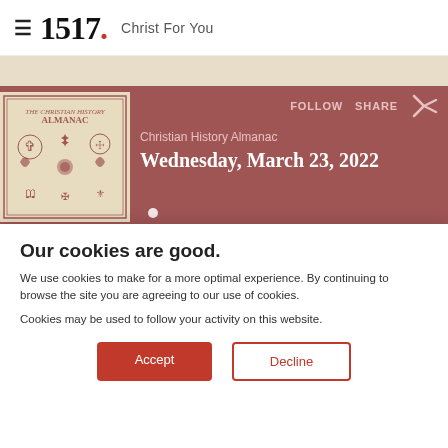≡ 1517. Christ For You
[Figure (screenshot): Screenshot of 1517.org website showing the Christian History Almanac page for Wednesday, March 23, 2022 with a cookie consent overlay]
FOLLOW  SHARE
Christian History Almanac
Wednesday, March 23, 2022
Our cookies are good.
We use cookies to make for a more optimal experience. By continuing to browse the site you are agreeing to our use of cookies.
Cookies may be used to follow your activity on this website.
Accept
Decline